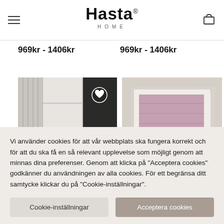Hasta HOME
969kr - 1406kr
969kr - 1406kr
[Figure (photo): Interior shelving unit with white shelves and a candle/product on shelf, alongside a dark plant/floral arrangement photo]
[Figure (photo): Window with a pink/mauve roller blind installed in a white window frame against a beige/taupe wall]
Vi använder cookies för att vår webbplats ska fungera korrekt och för att du ska få en så relevant upplevelse som möjligt genom att minnas dina preferenser. Genom att klicka på "Acceptera cookies" godkänner du användningen av alla cookies. För ett begränsa ditt samtycke klickar du på "Cookie-inställningar".
Cookie-inställningar
Acceptera cookies